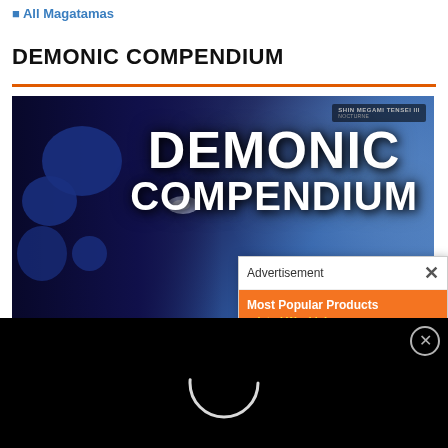All Magatamas
DEMONIC COMPENDIUM
[Figure (illustration): Demonic Compendium banner image with stylized demon face on left in dark blue tones and large white bold text reading DEMONIC COMPENDIUM on right, with Shin Megami Tensei III logo in top right corner]
Light Alignment Demons
Avatar Demons
Avian Demons
Deity Demons
Dragon Demons
[Figure (screenshot): Advertisement overlay with orange background showing Most Popular Products updated Weekly text and shopping product icons illustration]
[Figure (other): Black loading screen with spinning circle loader and close button (X in circle) in top right]